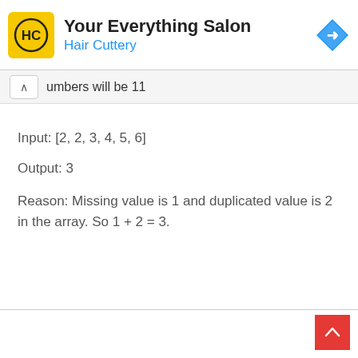[Figure (logo): Hair Cuttery advertisement banner with HC logo in yellow square, title 'Your Everything Salon', subtitle 'Hair Cuttery' in blue, and a blue navigation diamond icon on the right]
umbers will be 11
Input: [2, 2, 3, 4, 5, 6]
Output: 3
Reason: Missing value is 1 and duplicated value is 2 in the array. So 1 + 2 = 3.